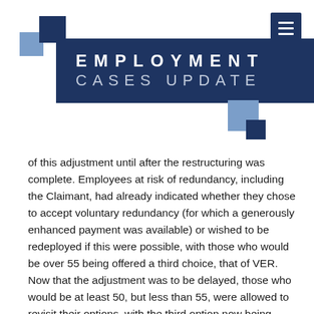[Figure (logo): Two overlapping squares logo: a dark navy square and a light blue square]
[Figure (other): Hamburger menu icon button (three horizontal white lines on dark navy background)]
EMPLOYMENT CASES UPDATE
[Figure (illustration): Two decorative squares (light blue and dark navy) positioned to the right of the title banner]
of this adjustment until after the restructuring was complete. Employees at risk of redundancy, including the Claimant, had already indicated whether they chose to accept voluntary redundancy (for which a generously enhanced payment was available) or wished to be redeployed if this were possible, with those who would be over 55 being offered a third choice, that of VER. Now that the adjustment was to be delayed, those who would be at least 50, but less than 55, were allowed to revisit their options, with the third option now being made available to them as it